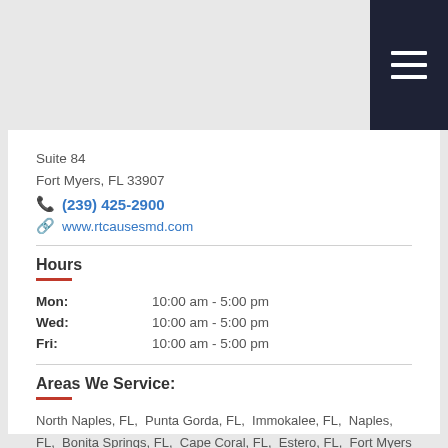Suite 84
Fort Myers, FL 33907
(239) 425-2900
www.rtcausesmd.com
Hours
| Day | Hours |
| --- | --- |
| Mon: | 10:00 am - 5:00 pm |
| Wed: | 10:00 am - 5:00 pm |
| Fri: | 10:00 am - 5:00 pm |
Areas We Service:
North Naples, FL,  Punta Gorda, FL,  Immokalee, FL,  Naples, FL,  Bonita Springs, FL,  Cape Coral, FL,  Estero, FL,  Fort Myers Beach, FL,  Lehigh Acres, FL,  North Fort Myers, FL,  Saint James City, FL,  Sanibel, FL,  San Carlos Park, FL,  Tice, FL